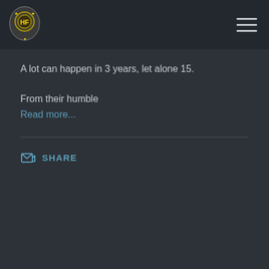[Figure (logo): Website logo/crest with gear and shield motif in yellow and white on dark background]
A lot can happen in 3 years, let alone 15.
From their humble
Read more...
SHARE